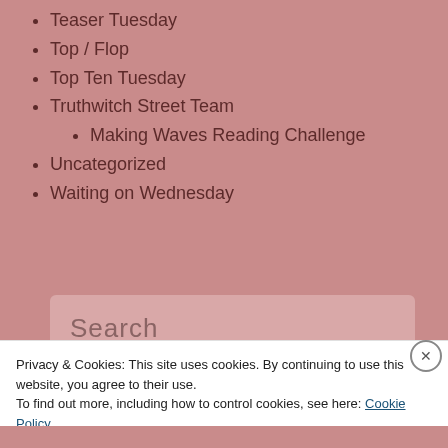Teaser Tuesday
Top / Flop
Top Ten Tuesday
Truthwitch Street Team
Making Waves Reading Challenge
Uncategorized
Waiting on Wednesday
Search
Privacy & Cookies: This site uses cookies. By continuing to use this website, you agree to their use. To find out more, including how to control cookies, see here: Cookie Policy
Close and accept